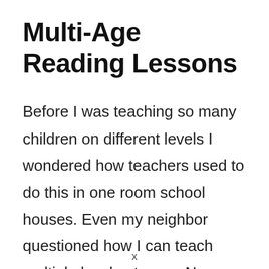Multi-Age Reading Lessons
Before I was teaching so many children on different levels I wondered how teachers used to do this in one room school houses. Even my neighbor questioned how I can teach multiple levels at once. Now